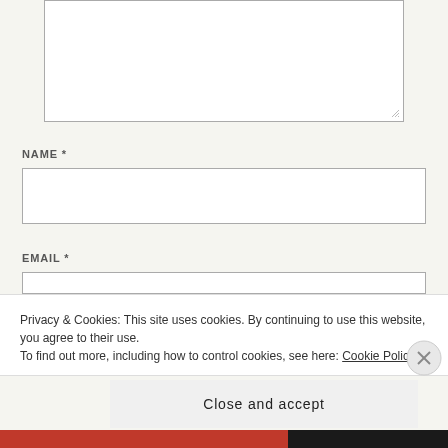[Figure (screenshot): Textarea input box with resize handle]
NAME *
[Figure (screenshot): Name text input field box]
EMAIL *
[Figure (screenshot): Email text input field box (partially visible)]
Privacy & Cookies: This site uses cookies. By continuing to use this website, you agree to their use.
To find out more, including how to control cookies, see here: Cookie Policy
Close and accept